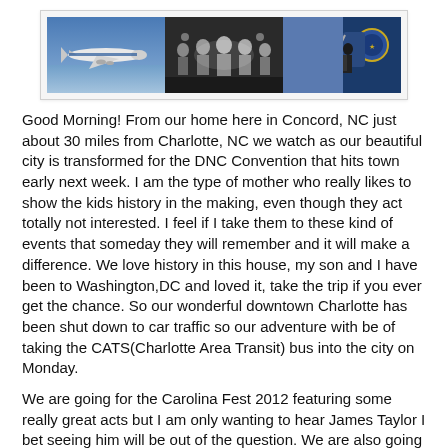[Figure (photo): Three historical photos side by side: Air Force One plane in flight, LBJ swearing-in ceremony (black and white), and a man descending airplane stairs]
Good Morning! From our home here in Concord, NC just about 30 miles from Charlotte, NC we watch as our beautiful city is transformed for the DNC Convention that hits town early next week. I am the type of mother who really likes to show the kids history in the making, even though they act totally not interested. I feel if I take them to these kind of events that someday they will remember and it will make a difference. We love history in this house, my son and I have been to Washington,DC and loved it, take the trip if you ever get the chance. So our wonderful downtown Charlotte has been shut down to car traffic so our adventure with be of taking the CATS(Charlotte Area Transit) bus into the city on Monday.
We are going for the Carolina Fest 2012 featuring some really great acts but I am only wanting to hear James Taylor I bet seeing him will be out of the question. We are also going